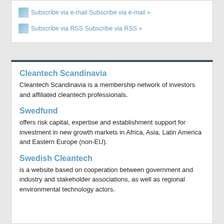Subscribe via e-mail Subscribe via e-mail »
Subscribe via RSS Subscribe via RSS »
Cleantech Scandinavia
Cleantech Scandinavia is a membership network of investors and affiliated cleantech professionals.
Swedfund
offers risk capital, expertise and establishment support for investment in new growth markets in Africa, Asia, Latin America and Eastern Europe (non-EU).
Swedish Cleantech
is a website based on cooperation between government and industry and stakeholder associations, as well as regional environmental technology actors.